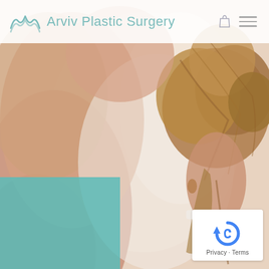[Figure (photo): Close-up back view of a woman with blonde hair in an updo, arm raised, warm skin tones, soft white background. Background photo for Arviv Plastic Surgery website header.]
Arviv Plastic Surgery
[Figure (logo): reCAPTCHA logo with circular arrow icon, text reading 'Privacy - Terms']